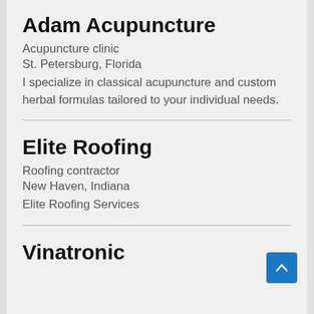Adam Acupuncture
Acupuncture clinic
St. Petersburg, Florida
I specialize in classical acupuncture and custom herbal formulas tailored to your individual needs.
Elite Roofing
Roofing contractor
New Haven, Indiana
Elite Roofing Services
Vinatronic